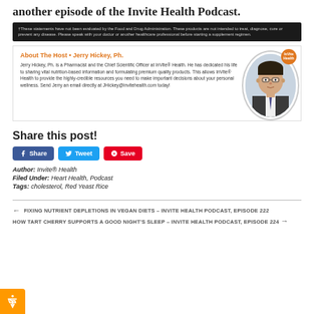another episode of the Invite Health Podcast.
†These statements have not been evaluated by the Food and Drug Administration. These products are not intended to treat, diagnose, cure or prevent any disease. Please speak with your doctor or another healthcare professional before starting a supplement regimen.
[Figure (infographic): Host bio card for Jerry Hickey, Ph. showing his photo, InVite Health logo badge, name in orange, and description text about his role as Pharmacist and Chief Scientific Officer at InVite Health.]
Share this post!
[Figure (infographic): Social sharing buttons: Facebook Share (blue), Twitter Tweet (light blue), Pinterest Save (red)]
Author: Invite® Health
Filed Under: Heart Health, Podcast
Tags: cholesterol, Red Yeast Rice
← FIXING NUTRIENT DEPLETIONS IN VEGAN DIETS – INVITE HEALTH PODCAST, EPISODE 222
HOW TART CHERRY SUPPORTS A GOOD NIGHT'S SLEEP – INVITE HEALTH PODCAST, EPISODE 224 →